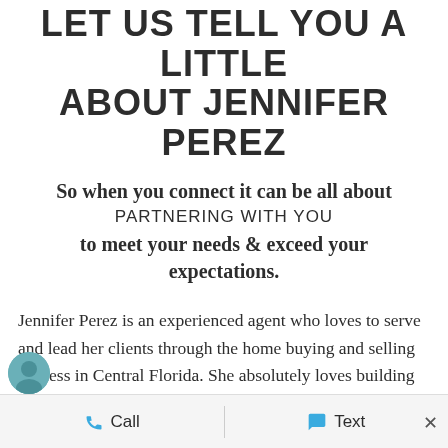LET US TELL YOU A LITTLE ABOUT JENNIFER PEREZ
So when you connect it can be all about PARTNERING WITH YOU to meet your needs & exceed your expectations.
Jennifer Perez is an experienced agent who loves to serve and lead her clients through the home buying and selling process in Central Florida. She absolutely loves building relationships with her clients that last years after working with her.
Call   Text